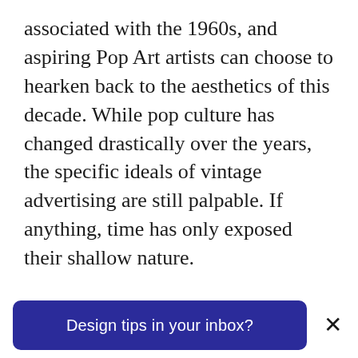associated with the 1960s, and aspiring Pop Art artists can choose to hearken back to the aesthetics of this decade. While pop culture has changed drastically over the years, the specific ideals of vintage advertising are still palpable. If anything, time has only exposed their shallow nature.
Designs in this style showcase (often ironically) 1950s suburban bliss, such as Alice R's book cover. The vintage illustration of a smiling woman looks like it was ripped directly from an old magazine insert, aside
Design tips in your inbox?